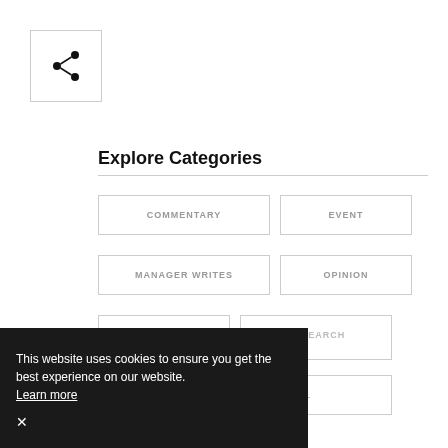[Figure (illustration): Share icon inside a square border — three connected dots forming a share/network symbol]
Explore Categories
COMMENTARY
EVENT
MANAGER WRITES
OPINION
PROFILE
RESEARCH
TECHNICAL
This website uses cookies to ensure you get the best experience on our website. Learn more ×